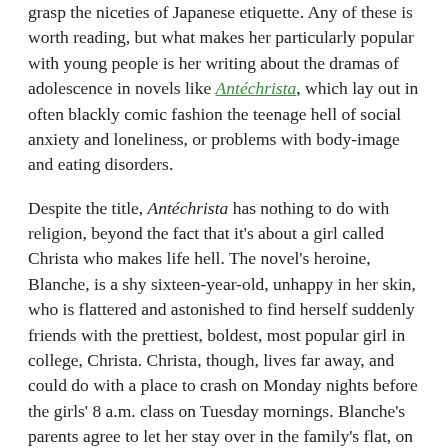grasp the niceties of Japanese etiquette. Any of these is worth reading, but what makes her particularly popular with young people is her writing about the dramas of adolescence in novels like Antéchrista, which lay out in often blackly comic fashion the teenage hell of social anxiety and loneliness, or problems with body-image and eating disorders.
Despite the title, Antéchrista has nothing to do with religion, beyond the fact that it's about a girl called Christa who makes life hell. The novel's heroine, Blanche, is a shy sixteen-year-old, unhappy in her skin, who is flattered and astonished to find herself suddenly friends with the prettiest, boldest, most popular girl in college, Christa. Christa, though, lives far away, and could do with a place to crash on Monday nights before the girls' 8 a.m. class on Tuesday mornings. Blanche's parents agree to let her stay over in the family's flat, on a camp bed in Blanche's room. She's a delightful house guest and a hit with the parents. Only with Blanche herself, when the two are alone in their room, does Christa begin to show a darker side to her